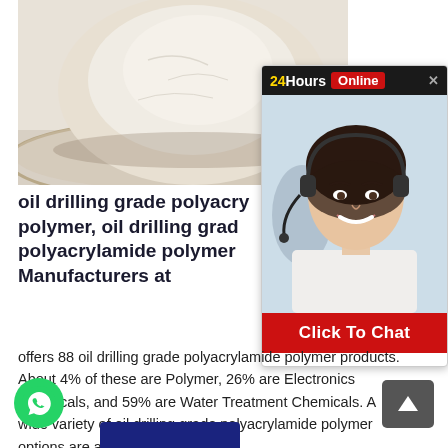[Figure (photo): White/cream colored powder in a glass bowl or petri dish, product image for polyacrylamide polymer]
[Figure (other): Chat widget overlay showing '24Hours Online' header with yellow and red text on dark background, a female customer service agent wearing a headset and smiling, and a red 'Click To Chat' button at the bottom]
oil drilling grade polyacrylamide polymer, oil drilling grade polyacrylamide polymer Manufacturers at
offers 88 oil drilling grade polyacrylamide polymer products. About 4% of these are Polymer, 26% are Electronics Chemicals, and 59% are Water Treatment Chemicals. A wide variety of oil drilling grade polyacrylamide polymer options are available t